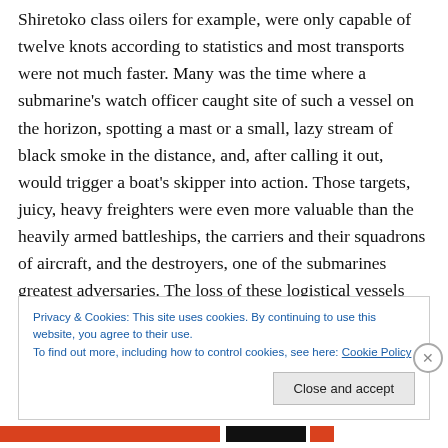Shiretoko class oilers for example, were only capable of twelve knots according to statistics and most transports were not much faster. Many was the time where a submarine's watch officer caught site of such a vessel on the horizon, spotting a mast or a small, lazy stream of black smoke in the distance, and, after calling it out, would trigger a boat's skipper into action. Those targets, juicy, heavy freighters were even more valuable than the heavily armed battleships, the carriers and their squadrons of aircraft, and the destroyers, one of the submarines greatest adversaries. The loss of these logistical vessels
Privacy & Cookies: This site uses cookies. By continuing to use this website, you agree to their use.
To find out more, including how to control cookies, see here: Cookie Policy
Close and accept